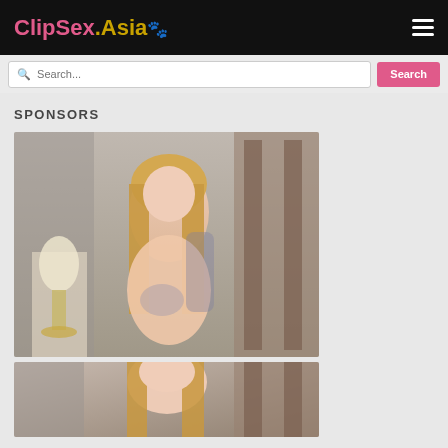ClipSex.Asia
SPONSORS
[Figure (photo): Blonde woman with tattoos posing indoors near a lamp and headboard]
[Figure (photo): Partial view of same blonde woman, cropped at bottom of page]